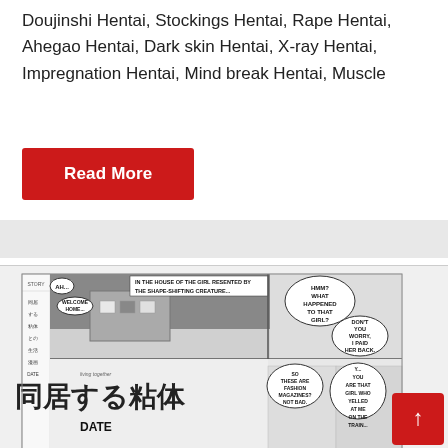Doujinshi Hentai, Stockings Hentai, Rape Hentai, Ahegao Hentai, Dark skin Hentai, X-ray Hentai, Impregnation Hentai, Mind break Hentai, Muscle
Read More
[Figure (illustration): Black and white manga comic panels showing scenes with speech bubbles reading: 'AH...', 'WELCOME HOME...', 'IN THE HOUSE OF THE GIRL RESENTED BY THE SHAPE-SHIFTING CREATURE...', 'HMM? WHAT HAPPENED TO THAT GIRL?', 'DON'T YOU WORRY, I PAID HER BACK.', 'SO THESE ARE FASHION MAGAZINES? NOT BAD.', 'Y... YOU ARE THAT GIRL WHO YELLED AT ME ON THE TRAIN...'. Title text in Japanese and 'DATE' in bold.]